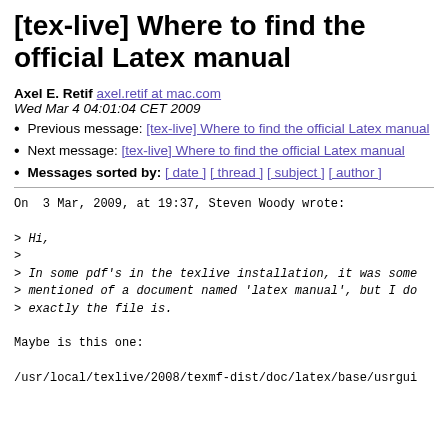[tex-live] Where to find the official Latex manual
Axel E. Retif axel.retif at mac.com
Wed Mar 4 04:01:04 CET 2009
Previous message: [tex-live] Where to find the official Latex manual
Next message: [tex-live] Where to find the official Latex manual
Messages sorted by: [ date ] [ thread ] [ subject ] [ author ]
On  3 Mar, 2009, at 19:37, Steven Woody wrote:

> Hi,
>
> In some pdf's in the texlive installation, it was some
> mentioned of a document named 'latex manual', but I do
> exactly the file is.

Maybe is this one:

/usr/local/texlive/2008/texmf-dist/doc/latex/base/usrgui